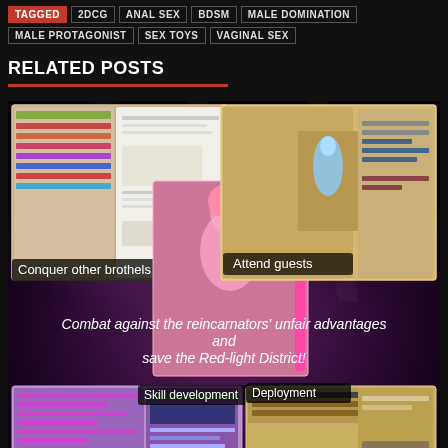TAGGED  2DCG  ANAL SEX  BDSM  MALE DOMINATION  MALE PROTAGONIST  SEX TOYS  VAGINAL SEX
RELATED POSTS
[Figure (screenshot): Game screenshot collage showing brothel management game features: 'Conquer other brothels', 'Attend guests', 'Skill development', 'Deployment', 'Leveling system', 'Brothel management', with central text 'Combat against the reincarnators' unfair advantages and save the Red-light District!']